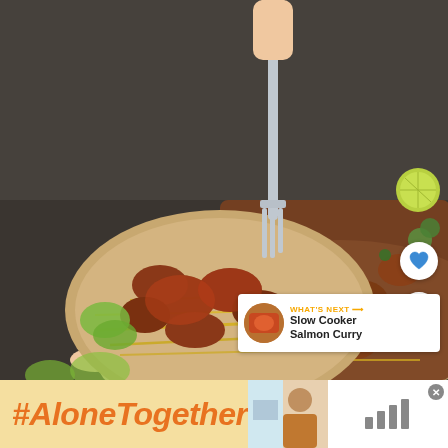[Figure (photo): A hand holding a plate of spiced chicken/meat pieces over yellow noodles and green vegetables, with a fork being used to eat. Large platter of the same dish in the background with a lime slice and herbs.]
[Figure (infographic): WHAT'S NEXT panel showing a thumbnail of Slow Cooker Salmon Curry with orange text label and title.]
#AloneTogether
[Figure (photo): Advertisement banner showing a woman in a kitchen setting on the right side of the bottom bar.]